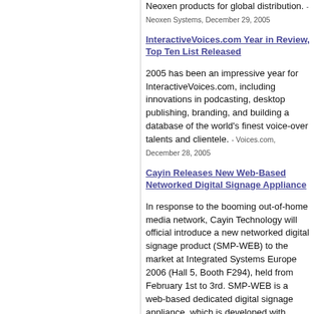Neoxen products for global distribution. - Neoxen Systems, December 29, 2005
InteractiveVoices.com Year in Review, Top Ten List Released
2005 has been an impressive year for InteractiveVoices.com, including innovations in podcasting, desktop publishing, branding, and building a database of the world's finest voice-over talents and clientele. - Voices.com, December 28, 2005
Cayin Releases New Web-Based Networked Digital Signage Appliance
In response to the booming out-of-home media network, Cayin Technology will official introduce a new networked digital signage product (SMP-WEB) to the market at Integrated Systems Europe 2006 (Hall 5, Booth F294), held from February 1st to 3rd. SMP-WEB is a web-based dedicated digital signage appliance, which is developed with Cayin's hardened embedded Linux and provides the most flexible presentations for out-of-home advertisements, public information, and entertainment. - Cayin Technology, December 27, 2005
Boiling Springs Savings Bank taps Comodo for online Verification solution